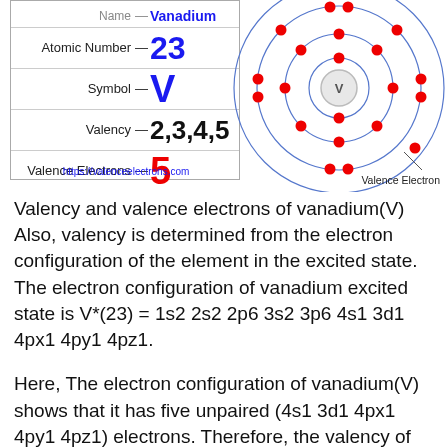[Figure (infographic): Vanadium element info box showing Atomic Number 23, Symbol V, Valency 2,3,4,5, Valence Electrons 5, alongside a Bohr atomic model diagram of vanadium with electron shells and a legend marking Valence Electron. URL: https://valenceelectrons.com]
Valency and valence electrons of vanadium(V) Also, valency is determined from the electron configuration of the element in the excited state. The electron configuration of vanadium excited state is V*(23) = 1s2 2s2 2p6 3s2 3p6 4s1 3d1 4px1 4py1 4pz1.
Here, The electron configuration of vanadium(V) shows that it has five unpaired (4s1 3d1 4px1 4py1 4pz1) electrons. Therefore, the valency of vanadium is 5. In the same way, the valency of vanadium 2, 3, 4 can be determined. The valency depends on the bond formation. Vanadium 4 and 5 valency is used